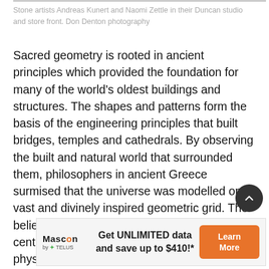Stone artists Andreas Kunert and Naomi Zettle in their Duncan studio and store front. Don Denton photography
Sacred geometry is rooted in ancient principles which provided the foundation for many of the world’s oldest buildings and structures. The shapes and patterns form the basis of the engineering principles that built bridges, temples and cathedrals. By observing the built and natural world that surrounded them, philosophers in ancient Greece surmised that the universe was modelled on a vast and divinely inspired geometric grid. The belief persisted into the 16th and 17th centuries, when mathematicians and physicists like Carl Friedrich Gauss and Johannes Kepler
[Figure (other): Advertisement banner for Mascon by TELUS offering unlimited data and savings up to $410. Features orange Learn More button.]